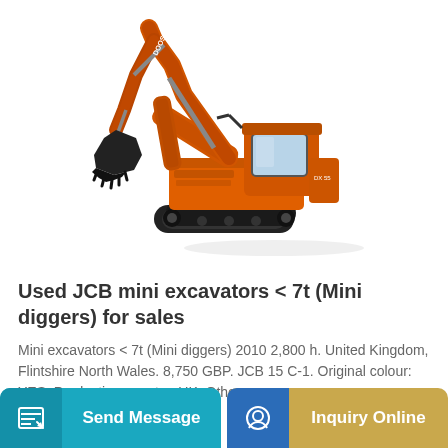[Figure (photo): Orange Doosan tracked excavator / mini digger on white background, side view showing boom, arm, bucket, cab, and undercarriage with rubber tracks]
Used JCB mini excavators < 7t (Mini diggers) for sales
Mini excavators < 7t (Mini diggers) 2010 2,800 h. United Kingdom, Flintshire North Wales. 8,750 GBP. JCB 15 C-1. Original colour: YES, Production country: UK, Other...
Send Message
Inquiry Online